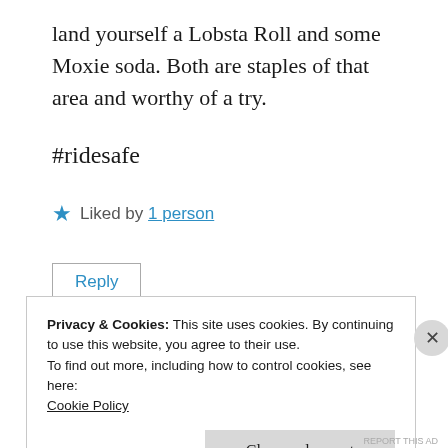land yourself a Lobsta Roll and some Moxie soda. Both are staples of that area and worthy of a try.
#ridesafe
★ Liked by 1 person
Reply
Privacy & Cookies: This site uses cookies. By continuing to use this website, you agree to their use.
To find out more, including how to control cookies, see here:
Cookie Policy
Close and accept